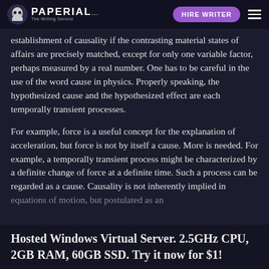PAPERIAL... HIRE WRITER
establishment of causality if the contrasting material states of affairs are precisely matched, except for only one variable factor, perhaps measured by a real number. One has to be careful in the use of the word cause in physics. Properly speaking, the hypothesized cause and the hypothesized effect are each temporally transient processes.
For example, force is a useful concept for the explanation of acceleration, but force is not by itself a cause. More is needed. For example, a temporally transient process might be characterized by a definite change of force at a definite time. Such a process can be regarded as a cause. Causality is not inherently implied in equations of motion, but postulated as an
Hosted Windows Virtual Server. 2.5GHz CPU, 2GB RAM, 60GB SSD. Try it now for $1!